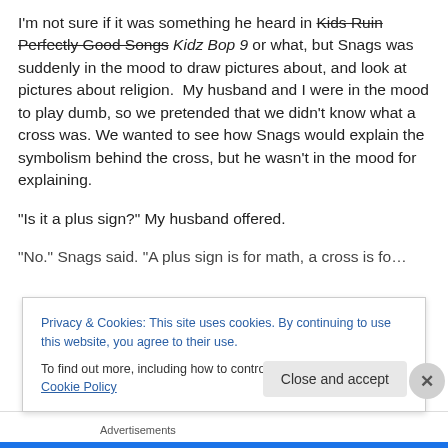I'm not sure if it was something he heard in Kids Ruin Perfectly Good Songs Kidz Bop 9 or what, but Snags was suddenly in the mood to draw pictures about, and look at pictures about religion.  My husband and I were in the mood to play dumb, so we pretended that we didn't know what a cross was. We wanted to see how Snags would explain the symbolism behind the cross, but he wasn't in the mood for explaining.
“Is it a plus sign?” My husband offered.
“No.” Snags said. “A plus sign is for math. A cross is for…”
Privacy & Cookies: This site uses cookies. By continuing to use this website, you agree to their use.
To find out more, including how to control cookies, see here: Cookie Policy
Close and accept
Advertisements